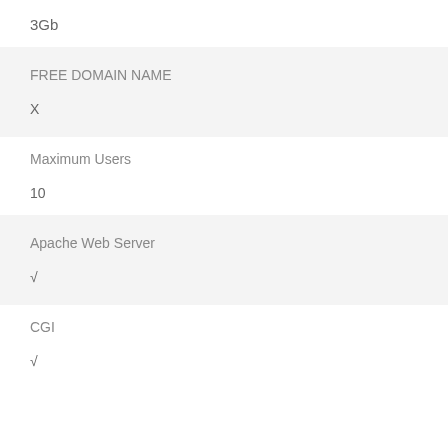3Gb
FREE DOMAIN NAME
X
Maximum Users
10
Apache Web Server
√
CGI
√